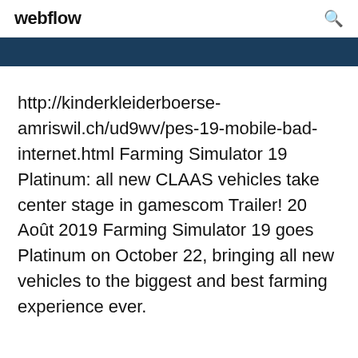webflow
http://kinderkleiderboerse-amriswil.ch/ud9wv/pes-19-mobile-bad-internet.html Farming Simulator 19 Platinum: all new CLAAS vehicles take center stage in gamescom Trailer! 20 Août 2019 Farming Simulator 19 goes Platinum on October 22, bringing all new vehicles to the biggest and best farming experience ever.